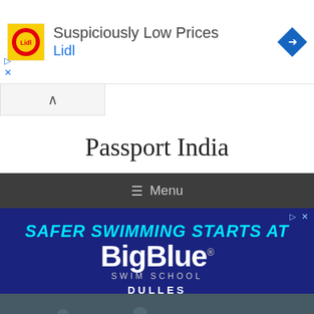[Figure (screenshot): Lidl advertisement banner with Lidl logo, text 'Suspiciously Low Prices' and 'Lidl', and a blue diamond navigation icon. Play and close controls visible.]
[Figure (screenshot): Collapse/chevron up button bar in light grey.]
Passport India
≡ Menu
[Figure (screenshot): BigBlue Swim School advertisement on dark navy background. Text: 'SAFER SWIMMING STARTS AT', 'BigBlue', 'SWIM SCHOOL', 'DULLES'. Bottom portion shows interior of swim school facility.]